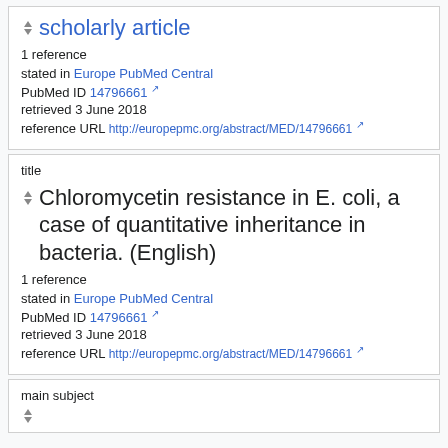scholarly article
1 reference
stated in Europe PubMed Central
PubMed ID 14796661
retrieved 3 June 2018
reference URL http://europepmc.org/abstract/MED/14796661
title
Chloromycetin resistance in E. coli, a case of quantitative inheritance in bacteria. (English)
1 reference
stated in Europe PubMed Central
PubMed ID 14796661
retrieved 3 June 2018
reference URL http://europepmc.org/abstract/MED/14796661
main subject